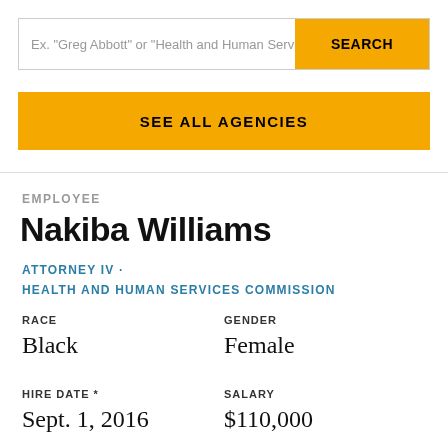Ex. "Greg Abbott" or "Health and Human Services Co
SEARCH
SEE ALL AGENCIES
EMPLOYEE
Nakiba Williams
ATTORNEY IV · HEALTH AND HUMAN SERVICES COMMISSION
RACE
Black
GENDER
Female
HIRE DATE *
Sept. 1, 2016
SALARY
$110,000